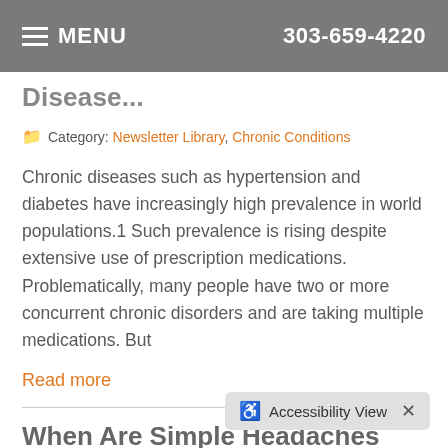MENU   303-659-4220
Disease...
Category: Newsletter Library, Chronic Conditions
Chronic diseases such as hypertension and diabetes have increasingly high prevalence in world populations.1 Such prevalence is rising despite extensive use of prescription medications. Problematically, many people have two or more concurrent chronic disorders and are taking multiple medications. But
Read more
When Are Simple Headaches Not So Simple?